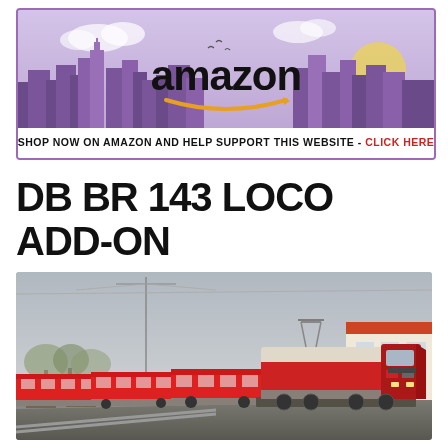[Figure (illustration): Amazon banner advertisement with purple city skyline background, Amazon logo in black with orange smile arrow, and text 'SHOP NOW ON AMAZON AND HELP SUPPORT THIS WEBSITE - CLICK HERE' in black and red]
DB BR 143 LOCO ADD-ON
[Figure (photo): Screenshot of a red DB BR 143 electric locomotive pulling a passenger train along tracks, with overhead wires, trees, and a building visible in the background. Train simulation game screenshot.]